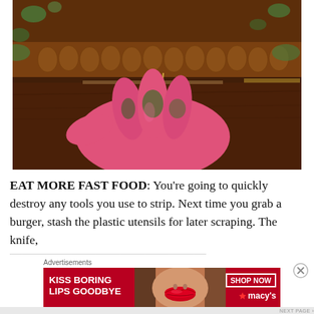[Figure (photo): Close-up photograph of a gloved hand (pink glove, dirty with green residue) using a toothpick or small tool to scrape ornate carved wooden molding covered in old paint and patina.]
EAT MORE FAST FOOD: You're going to quickly destroy any tools you use to strip. Next time you grab a burger, stash the plastic utensils for later scraping. The knife,
Advertisements
[Figure (photo): Advertisement banner for Macy's lipstick/makeup. Dark red background with white bold text reading 'KISS BORING LIPS GOODBYE' on the left, a photo of a woman's face with bold red lips in the center, and a 'SHOP NOW' button with the Macy's star logo on the right.]